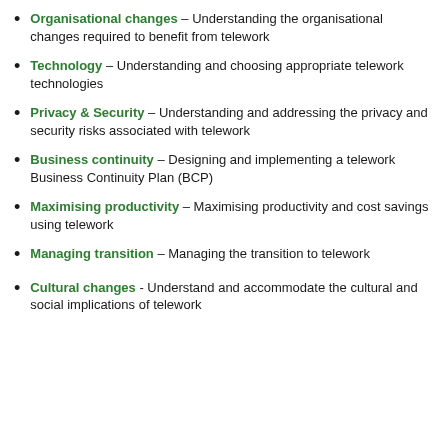Organisational changes – Understanding the organisational changes required to benefit from telework
Technology – Understanding and choosing appropriate telework technologies
Privacy & Security – Understanding and addressing the privacy and security risks associated with telework
Business continuity – Designing and implementing a telework Business Continuity Plan (BCP)
Maximising productivity – Maximising productivity and cost savings using telework
Managing transition – Managing the transition to telework
Cultural changes - Understand and accommodate the cultural and social implications of telework